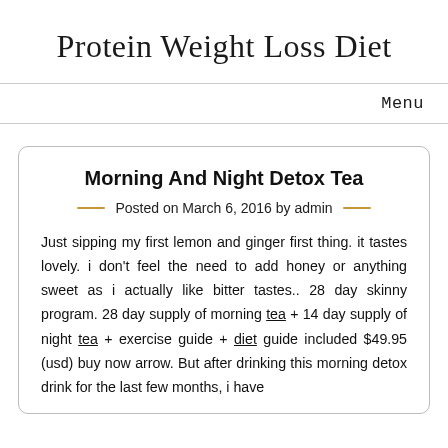Protein Weight Loss Diet
Menu
Morning And Night Detox Tea
Posted on March 6, 2016 by admin
Just sipping my first lemon and ginger first thing. it tastes lovely. i don't feel the need to add honey or anything sweet as i actually like bitter tastes.. 28 day skinny program. 28 day supply of morning tea + 14 day supply of night tea + exercise guide + diet guide included $49.95 (usd) buy now arrow. But after drinking this morning detox drink for the last few months, i have